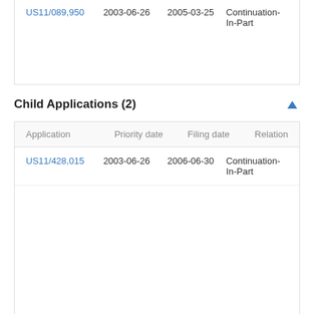| Application | Priority date | Filing date | Relation |
| --- | --- | --- | --- |
| US11/089,950 | 2003-06-26 | 2005-03-25 | Continuation-In-Part |
Child Applications (2)
| Application | Priority date | Filing date | Relation |
| --- | --- | --- | --- |
| US11/428,015 | 2003-06-26 | 2006-06-30 | Continuation-In-Part |
| US11/428,003 | 2003-06-26 | 2006-06-30 | Continuation-In-Part |